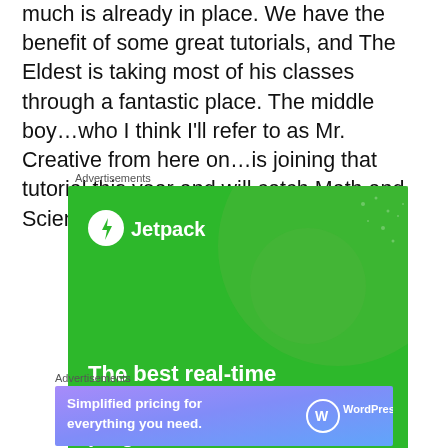much is already in place. We have the benefit of some great tutorials, and The Eldest is taking most of his classes through a fantastic place. The middle boy…who I think I'll refer to as Mr. Creative from here on…is joining that tutorial this year and will catch Math and Science, an English class and Drama.
Advertisements
[Figure (illustration): Jetpack advertisement banner with green background, Jetpack logo with lightning bolt icon, and text 'The best real-time WordPress backup plugin']
Advertisements
[Figure (illustration): WordPress.com advertisement banner with purple-blue gradient background, text 'Simplified pricing for everything you need.' and WordPress.com logo]